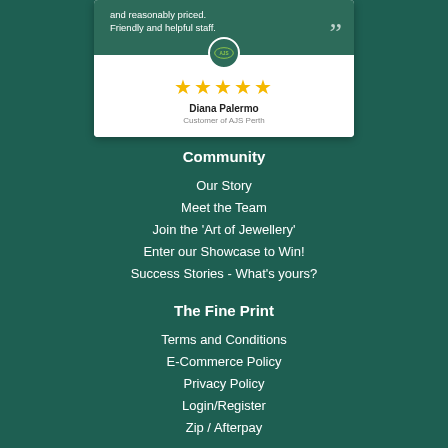[Figure (other): Customer review card showing partial text 'and reasonably priced. Friendly and helpful staff.' with closing quote mark, AJS logo, five gold stars, reviewer name Diana Palermo, and subtitle Customer of AJS Perth]
Community
Our Story
Meet the Team
Join the 'Art of Jewellery'
Enter our Showcase to Win!
Success Stories - What's yours?
The Fine Print
Terms and Conditions
E-Commerce Policy
Privacy Policy
Login/Register
Zip / Afterpay